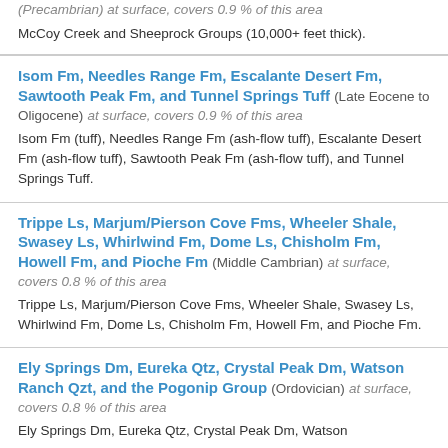(Precambrian) at surface, covers 0.9 % of this area
McCoy Creek and Sheeprock Groups (10,000+ feet thick).
Isom Fm, Needles Range Fm, Escalante Desert Fm, Sawtooth Peak Fm, and Tunnel Springs Tuff (Late Eocene to Oligocene) at surface, covers 0.9 % of this area
Isom Fm (tuff), Needles Range Fm (ash-flow tuff), Escalante Desert Fm (ash-flow tuff), Sawtooth Peak Fm (ash-flow tuff), and Tunnel Springs Tuff.
Trippe Ls, Marjum/Pierson Cove Fms, Wheeler Shale, Swasey Ls, Whirlwind Fm, Dome Ls, Chisholm Fm, Howell Fm, and Pioche Fm (Middle Cambrian) at surface, covers 0.8 % of this area
Trippe Ls, Marjum/Pierson Cove Fms, Wheeler Shale, Swasey Ls, Whirlwind Fm, Dome Ls, Chisholm Fm, Howell Fm, and Pioche Fm.
Ely Springs Dm, Eureka Qtz, Crystal Peak Dm, Watson Ranch Qzt, and the Pogonip Group (Ordovician) at surface, covers 0.8 % of this area
Ely Springs Dm, Eureka Qtz, Crystal Peak Dm, Watson